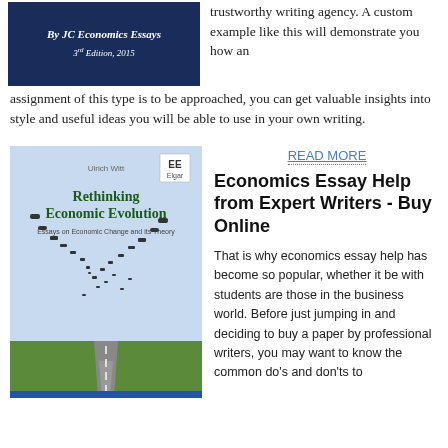[Figure (photo): Book cover: 'By JC Economics Essays, 3rd Edition, 2015' on a dark blue background]
trustworthy writing agency. A custom example like this will demonstrate you how an assignment of this type is to be approached, you can get valuable insights into style and useful ideas you will be able to use in your own writing.
[Figure (photo): Book cover: 'Rethinking Economic Evolution - Essays on Economic Change and its Theory' by Ulrich Witt, Edward Elgar Publishing. Features a road stretching into the distance with birds scattering upward.]
READ MORE
Economics Essay Help from Expert Writers - Buy Online
That is why economics essay help has become so popular, whether it be with students are those in the business world. Before just jumping in and deciding to buy a paper by professional writers, you may want to know the common do's and don'ts to